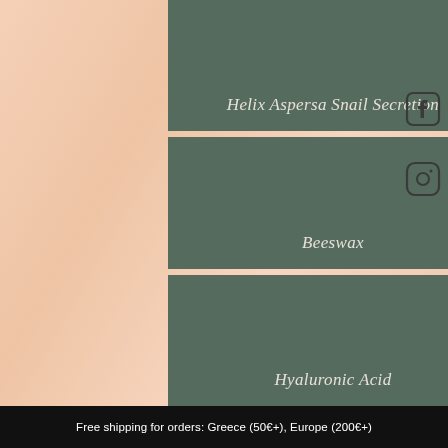[Figure (illustration): Three stacked sage green/muted teal panels on a peach/cream silky background, each displaying an ingredient name in italic white text. Panel 1: Helix Aspersa Snail Secretion. Panel 2: Beeswax. Panel 3: Hyaluronic Acid. Social media icons (Facebook, Instagram) on the right side.]
Helix Aspersa Snail Secretion
Beeswax
Hyaluronic Acid
Free shipping for orders: Greece (50€+), Europe (200€+)